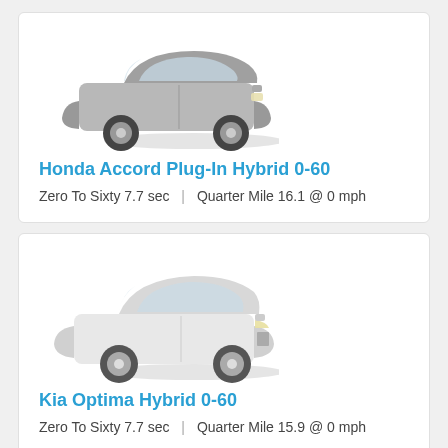[Figure (photo): Honda Accord Plug-In Hybrid sedan, silver/grey color, side-front view]
Honda Accord Plug-In Hybrid 0-60
Zero To Sixty 7.7 sec  |  Quarter Mile 16.1 @ 0 mph
[Figure (photo): Kia Optima Hybrid sedan, white color, side-front view]
Kia Optima Hybrid 0-60
Zero To Sixty 7.7 sec  |  Quarter Mile 15.9 @ 0 mph